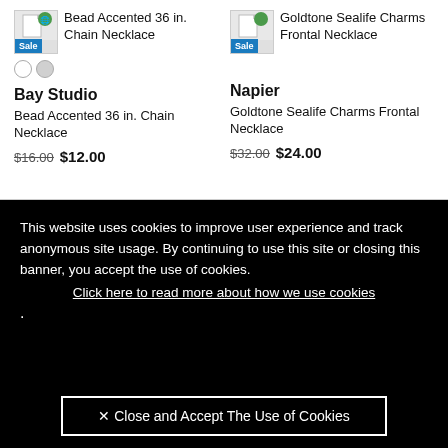[Figure (photo): Product thumbnail for Bead Accented 36 in. Chain Necklace with Sale badge]
Bead Accented 36 in. Chain Necklace
[Figure (photo): Product thumbnail for Goldtone Sealife Charms Frontal Necklace with Sale badge]
Goldtone Sealife Charms Frontal Necklace
Bay Studio
Bead Accented 36 in. Chain Necklace
$16.00  $12.00
Napier
Goldtone Sealife Charms Frontal Necklace
$32.00  $24.00
This website uses cookies to improve user experience and track anonymous site usage. By continuing to use this site or closing this banner, you accept the use of cookies. Click here to read more about how we use cookies .
✕ Close and Accept The Use of Cookies